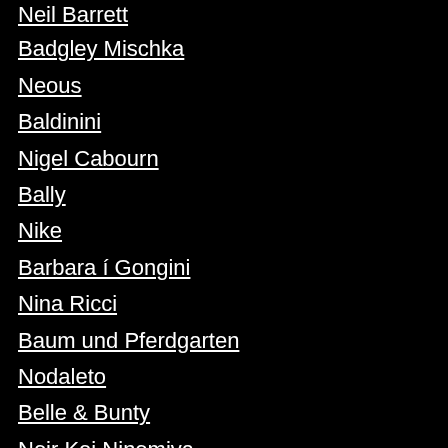Neil Barrett
Badgley Mischka
Neous
Baldinini
Nigel Cabourn
Bally
Nike
Barbara í Gongini
Nina Ricci
Baum und Pferdgarten
Nodaleto
Belle & Bunty
Noir Kei Ninomiya